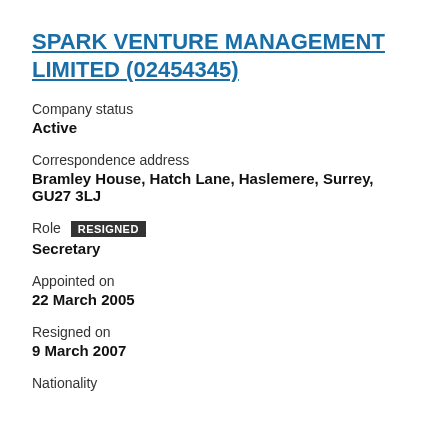SPARK VENTURE MANAGEMENT LIMITED (02454345)
Company status
Active
Correspondence address
Bramley House, Hatch Lane, Haslemere, Surrey, GU27 3LJ
Role  RESIGNED
Secretary
Appointed on
22 March 2005
Resigned on
9 March 2007
Nationality